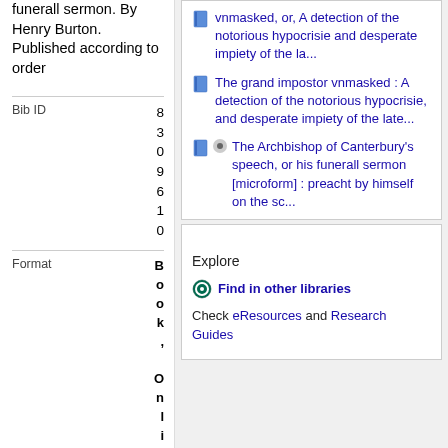funerall sermon. By Henry Burton. Published according to order
Bib ID
8309610
Format
Book, Online
Author
B
vnmasked, or, A detection of the notorious hypocrisie and desperate impiety of the la...
The grand impostor vnmasked : A detection of the notorious hypocrisie, and desperate impiety of the late...
The Archbishop of Canterbury's speech, or his funerall sermon [microform] : preacht by himself on the sc...
Explore
Find in other libraries
Check eResources and Research Guides